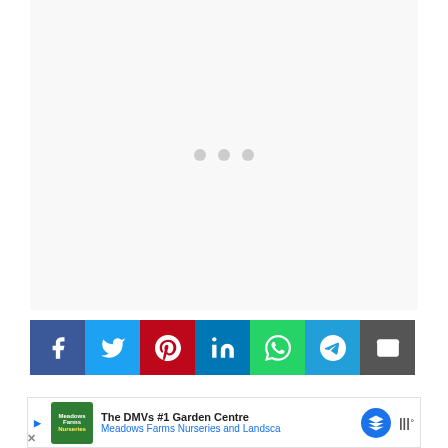[Figure (other): Loading placeholder with three grey dots centered in a light grey rectangular area]
[Figure (infographic): Social media share buttons bar: Facebook (blue), Twitter (light blue), Pinterest (red), LinkedIn (teal/blue), WhatsApp (green), Telegram (blue), Email (dark grey)]
[Figure (other): Advertisement banner: The DMVs #1 Garden Centre - Meadows Farms Nurseries and Landsca... with play button, logo, navigation icon, and weather widget]